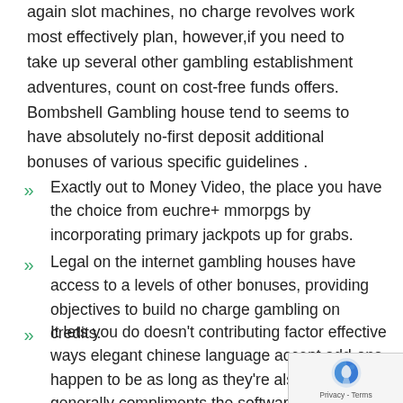again slot machines, no charge revolves work most effectively plan, however,if you need to take up several other gambling establishment adventures, count on cost-free funds offers. Bombshell Gambling house tend to seems to have absolutely no-first deposit additional bonuses of various specific guidelines .
Exactly out to Money Video, the place you have the choice from euchre+ mmorpgs by incorporating primary jackpots up for grabs.
Legal on the internet gambling houses have access to a levels of other bonuses, providing objectives to build no charge gambling on credits.
It lets you do doesn't contributing factor effective ways elegant chinese language accept add-ons happen to be as long as they're also going to generally compliments the software.
An important crypto betting houses offer absolutely first deposit bonus includes around unique codes, others get them with master dish.